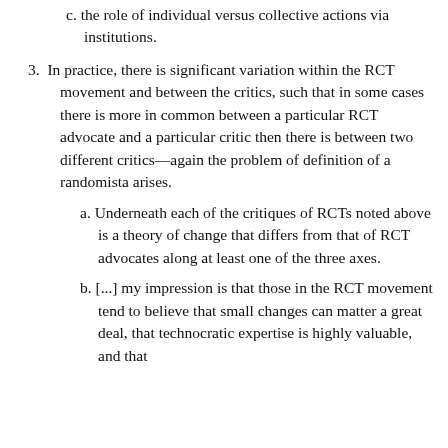c. the role of individual versus collective actions via institutions.
3. In practice, there is significant variation within the RCT movement and between the critics, such that in some cases there is more in common between a particular RCT advocate and a particular critic then there is between two different critics—again the problem of definition of a randomista arises.
a. Underneath each of the critiques of RCTs noted above is a theory of change that differs from that of RCT advocates along at least one of the three axes.
b. [...] my impression is that those in the RCT movement tend to believe that small changes can matter a great deal, that technocratic expertise is highly valuable, and that